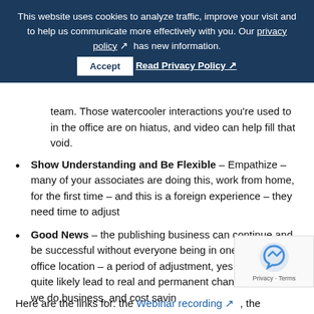This website uses cookies to analyze traffic, improve your visit and to help us communicate more effectively with you. Our privacy policy  has new information.  [Accept]  [Read Privacy Policy]
team. Those watercooler interactions you're used to in the office are on hiatus, and video can help fill that void.
Show Understanding and Be Flexible – Empathize – many of your associates are doing this, work from home, for the first time – and this is a foreign experience – they need time to adjust
Good News – the publishing business can continue and be successful without everyone being in one physical office location – a period of adjustment, yes – but will quite likely lead to real and permanent changes in how we do business, and cost savin
Here are the links for: the Webinar recording  , the